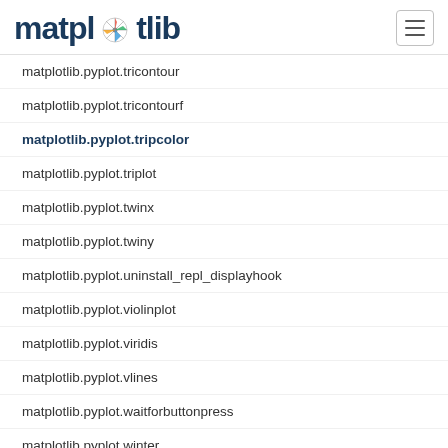matplotlib
matplotlib.pyplot.tricontour
matplotlib.pyplot.tricontourf
matplotlib.pyplot.tripcolor
matplotlib.pyplot.triplot
matplotlib.pyplot.twinx
matplotlib.pyplot.twiny
matplotlib.pyplot.uninstall_repl_displayhook
matplotlib.pyplot.violinplot
matplotlib.pyplot.viridis
matplotlib.pyplot.vlines
matplotlib.pyplot.waitforbuttonpress
matplotlib.pyplot.winter
matplotlib.pyplot.xcorr